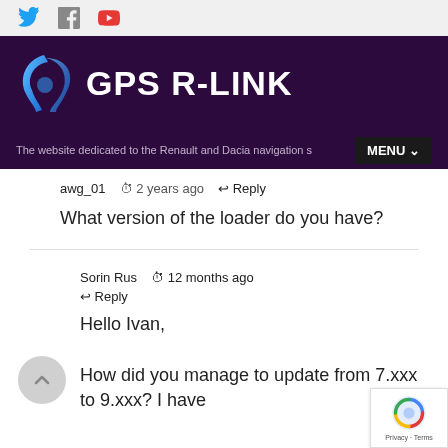GPS R-LINK — The website dedicated to the Renault and Dacia navigation s…
awg_01  🕐 2 years ago  ↩ Reply
What version of the loader do you have?
Sorin Rus  🕐 12 months ago  ↩ Reply
Hello Ivan,

How did you manage to update from 7.xxx to 9.xxx? I have